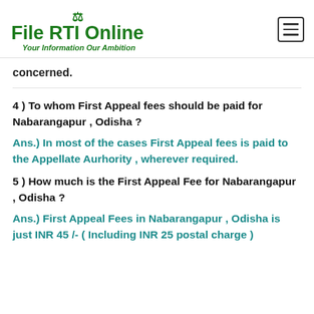[Figure (logo): File RTI Online logo with scales of justice icon and tagline 'Your Information Our Ambition' in green]
concerned.
4 ) To whom First Appeal fees should be paid for Nabarangapur , Odisha ?
Ans.) In most of the cases First Appeal fees is paid to the Appellate Aurhority , wherever required.
5 ) How much is the First Appeal Fee for Nabarangapur , Odisha ?
Ans.) First Appeal Fees in Nabarangapur , Odisha is just INR 45 /- ( Including INR 25 postal charge )